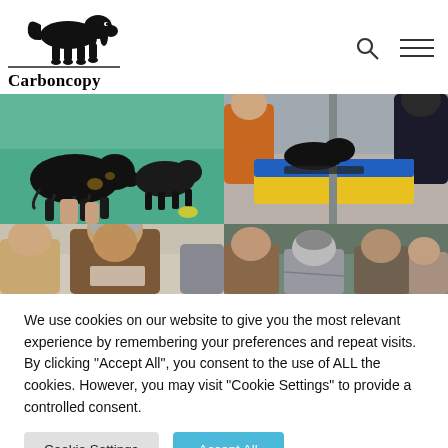[Figure (logo): Carboncopy logo: silhouette of a dog (basset hound style) above the word 'Carboncopy', with a horizontal line beneath the dog silhouette]
[Figure (photo): Two black long-haired dogs standing on a green show floor, viewed from the side, at what appears to be a dog show]
[Figure (photo): Dog grooming table with yellow/blue tablecloth, a dark dog being groomed, people in orange and dark jackets nearby at a dog show]
[Figure (photo): Two people, one in brown jacket looking down, another person partially visible on left in tan jacket, indoor setting]
[Figure (photo): Several people seated, including a person with grey hair visible from behind, others looking downward in what appears to be a judging or viewing event]
We use cookies on our website to give you the most relevant experience by remembering your preferences and repeat visits. By clicking "Accept All", you consent to the use of ALL the cookies. However, you may visit "Cookie Settings" to provide a controlled consent.
Cookie Settings
Accept All